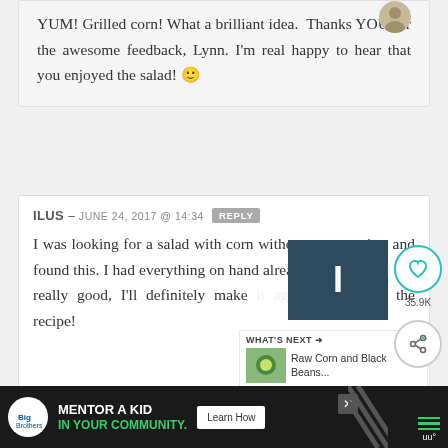YUM! Grilled corn! What a brilliant idea. Thanks YOU for the awesome feedback, Lynn. I'm real happy to hear that you enjoyed the salad! 🙂
ILUS – JUNE 24, 2017 @ 14:34 REPLY
I was looking for a salad with corn without mayonnaise, and found this. I had everything on hand already and it turned out really good, I'll definitely make it again, thanks for the recipe!
[Figure (other): Social sidebar with heart/like button showing 35.9K and share button]
[Figure (other): What's Next widget showing Raw Corn and Black Beans recipe with thumbnail]
[Figure (other): Advertisement banner: Mentor a Kid In Your Community - Big Brothers Big Sisters, with Learn How button]